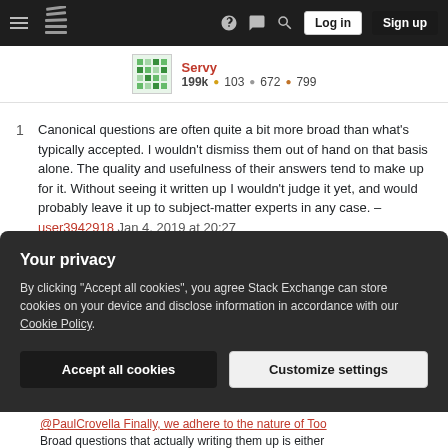Stack Exchange navigation bar with hamburger menu, logo, help, chat, search icons, Log in and Sign up buttons
Servy 199k ● 103 ● 672 ● 799
1 Canonical questions are often quite a bit more broad than what's typically accepted. I wouldn't dismiss them out of hand on that basis alone. The quality and usefulness of their answers tend to make up for it. Without seeing it written up I wouldn't judge it yet, and would probably leave it up to subject-matter experts in any case. – user3942918 Jan 4, 2019 at 20:27
1 @PaulCrovella There aren't "Canonical" questions and "non-canonical" questions. All on topic questions are intended to be the canonical versions of that question,
Your privacy
By clicking "Accept all cookies", you agree Stack Exchange can store cookies on your device and disclose information in accordance with our Cookie Policy.
Accept all cookies  Customize settings
@PaulCrovella Finally, we adhere to the nature of Too Broad questions that actually writing them up is either